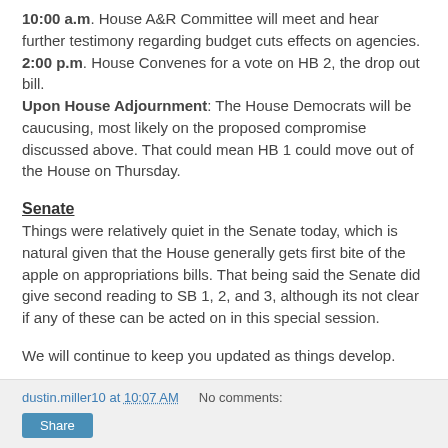10:00 a.m. House A&R Committee will meet and hear further testimony regarding budget cuts effects on agencies. 2:00 p.m. House Convenes for a vote on HB 2, the drop out bill. Upon House Adjournment: The House Democrats will be caucusing, most likely on the proposed compromise discussed above. That could mean HB 1 could move out of the House on Thursday.
Senate
Things were relatively quiet in the Senate today, which is natural given that the House generally gets first bite of the apple on appropriations bills. That being said the Senate did give second reading to SB 1, 2, and 3, although its not clear if any of these can be acted on in this special session.
We will continue to keep you updated as things develop.
dustin.miller10 at 10:07 AM   No comments:   Share